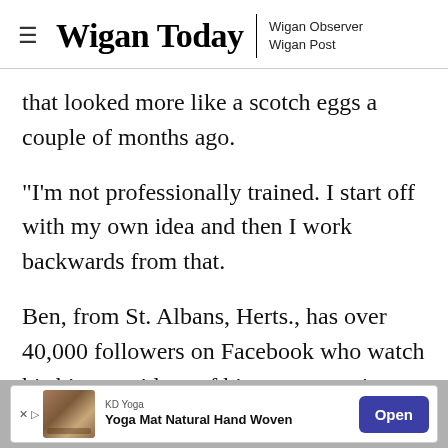Wigan Today | Wigan Observer Wigan Post
that looked more like a scotch eggs a couple of months ago.
"I'm not professionally trained. I start off with my own idea and then I work backwards from that.
Ben, from St. Albans, Herts., has over 40,000 followers on Facebook who watch his bizarre videos of his crazy creations which he uploads every
[Figure (screenshot): Advertisement banner for KD Yoga - Yoga Mat Natural Hand Woven with an Open button]